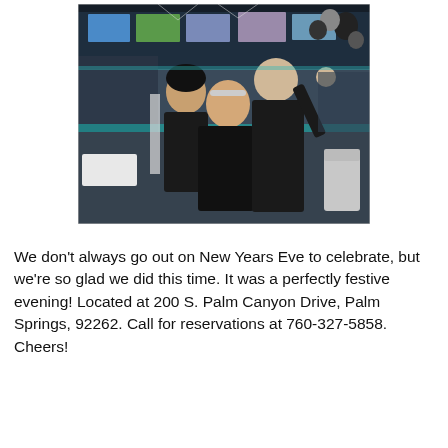[Figure (photo): Three people posing together in a festive restaurant interior with TV screens, black and silver balloons, teal accent lighting, and white tables/chairs. All wearing black outfits.]
We don't always go out on New Years Eve to celebrate, but we're so glad we did this time. It was a perfectly festive evening! Located at 200 S. Palm Canyon Drive, Palm Springs, 92262. Call for reservations at 760-327-5858. Cheers!